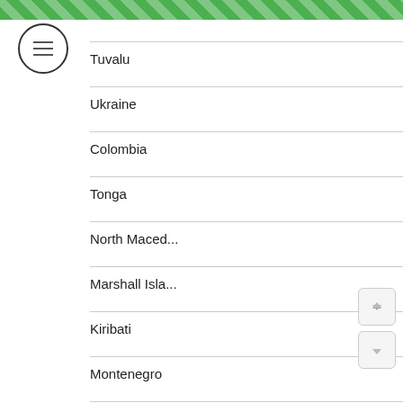[Figure (other): Green diagonal striped header bar at top of page]
| Country | Rank | Score |
| --- | --- | --- |
| (partial) |  | 128 |
| Tuvalu | 42 | 127 |
| Ukraine | 43 | 126 |
| Colombia | 43 | 126 |
| Tonga | 44 | 125 |
| North Maced... | 45 | 123 |
| Marshall Isla... | 46 | 122 |
| Kiribati | 46 | 122 |
| Montenegro | 46 | 122 |
| Moldova | 47 | 119 |
| Micronesia | 47 | ... |